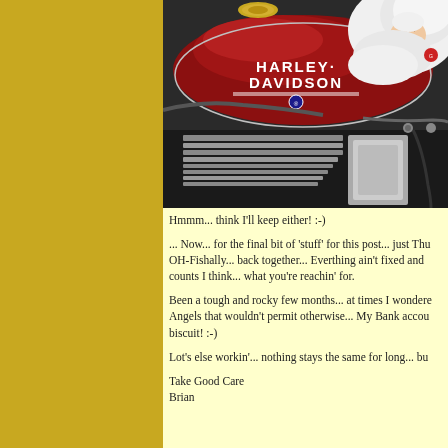[Figure (photo): A newborn baby in a white blanket resting on a red Harley-Davidson motorcycle fuel tank. The Harley-Davidson logo is prominently visible on the tank.]
Hmmm... think I'll keep either! :-)
... Now... for the final bit of 'stuff' for this post... just Thu OH-Fishally... back together... Everthing ain't fixed and counts I think... what you're reachin' for.
Been a tough and rocky few months... at times I wondere Angels that wouldn't permit otherwise... My Bank accou biscuit! :-)
Lot's else workin'... nothing stays the same for long... bu
Take Good Care
Brian